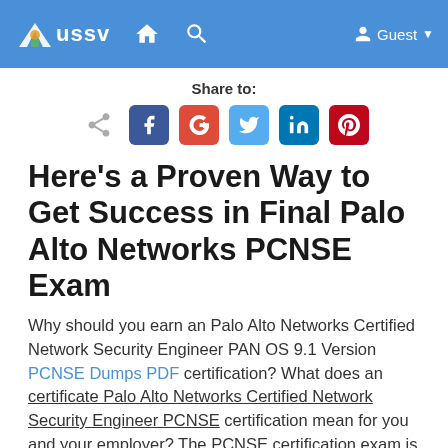USSV — navigation header with home, search, and Guest menu
Share to:
[Figure (infographic): Social share icons: share, Facebook, Google+, Twitter, LinkedIn, Pinterest]
Here's a Proven Way to Get Success in Final Palo Alto Networks PCNSE Exam
Why should you earn an Palo Alto Networks Certified Network Security Engineer PAN OS 9.1 Version PCNSE Dumps PDF certification? What does an certificate Palo Alto Networks Certified Network Security Engineer PCNSE certification mean for you and your employer? The PCNSE certification exam is a fast and easily recognized